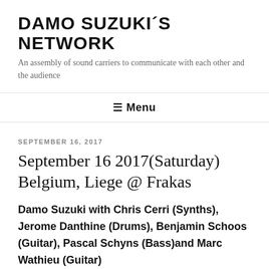DAMO SUZUKI´S NETWORK
An assembly of sound carriers to communicate with each other and the audience
≡ Menu
SEPTEMBER 16, 2017
September 16 2017(Saturday) Belgium, Liege @ Frakas
Damo Suzuki with Chris Cerri (Synths), Jerome Danthine (Drums), Benjamin Schoos (Guitar), Pascal Schyns (Bass)and Marc Wathieu (Guitar)
http:// www.frakas.be